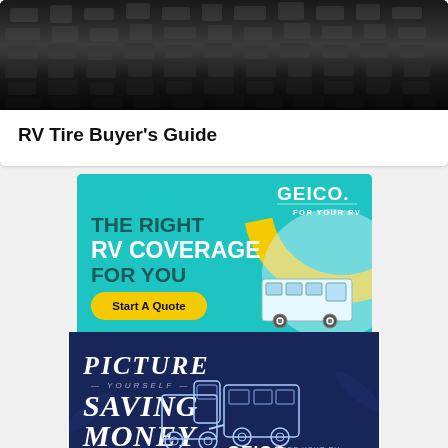[Figure (photo): Close-up photo of dark tire treads, likely RV tires]
RV Tire Buyer’s Guide
[Figure (illustration): GEICO advertisement for RV coverage - teal background. Text reads: THE RIGHT RV COVERAGE FOR YOU. Start A Quote. GEICO FOR YOUR RV. RV illustration on the right with yellow arc.]
[Figure (illustration): GEICO advertisement - dark blue background. Text reads: PICTURE YOURSELF SAVING MONEY. GET A QUOTE. GEICO FOR YOUR RV. Illustration of truck towing RV trailer.]